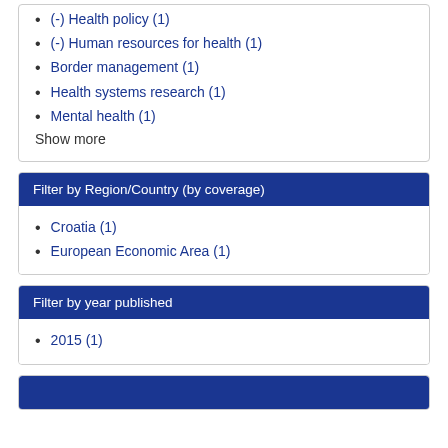(-) Health policy (1)
(-) Human resources for health (1)
Border management (1)
Health systems research (1)
Mental health (1)
Show more
Filter by Region/Country (by coverage)
Croatia (1)
European Economic Area (1)
Filter by year published
2015 (1)